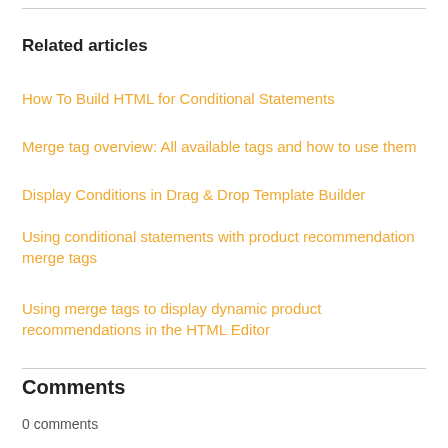Related articles
How To Build HTML for Conditional Statements
Merge tag overview: All available tags and how to use them
Display Conditions in Drag & Drop Template Builder
Using conditional statements with product recommendation merge tags
Using merge tags to display dynamic product recommendations in the HTML Editor
Comments
0 comments